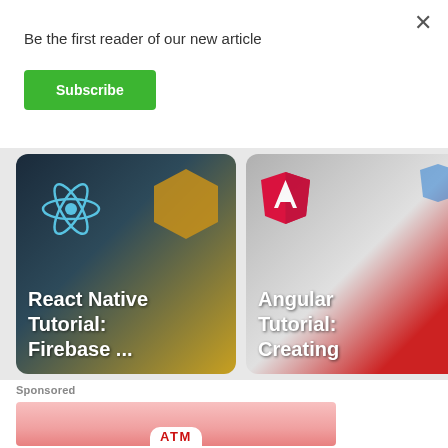×
Be the first reader of our new article
Subscribe
[Figure (screenshot): Card with dark background showing React Native tutorial thumbnail with React atom icon and golden hexagon shapes, title reads 'React Native Tutorial: Firebase ...']
[Figure (screenshot): Card with light/grey background showing Angular tutorial thumbnail with Angular A logo in red, title reads 'Angular Tutorial: Creating']
Sponsored
[Figure (photo): Pink/rose-toned advertisement banner with ATM text visible at bottom center]